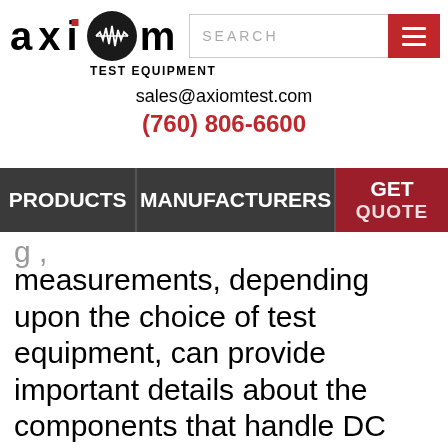[Figure (logo): Axiom Test Equipment logo with stylized waveform graphic and text 'TEST EQUIPMENT']
[Figure (screenshot): Search bar with SEARCH placeholder text and red hamburger menu button]
sales@axiomtest.com
(760) 806-6600
[Figure (screenshot): Navigation bar with PRODUCTS, MANUFACTURERS, and GET QUOTE (partial) menu items]
measurements, depending upon the choice of test equipment, can provide important details about the components that handle DC power within an electronic system, such as AC-to-DC converters, DC-to-DC converters, DC to AC converter, DC